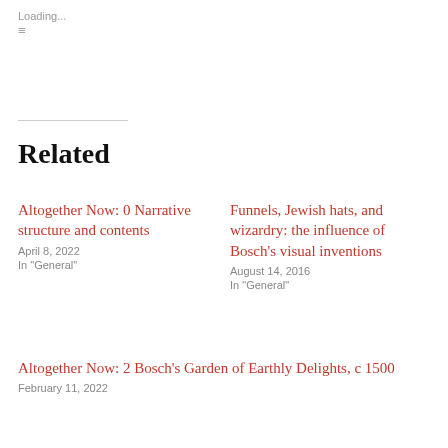Loading...
Related
Altogether Now: 0 Narrative structure and contents
April 8, 2022
In "General"
Funnels, Jewish hats, and wizardry: the influence of Bosch's visual inventions
August 14, 2016
In "General"
Altogether Now: 2 Bosch's Garden of Earthly Delights, c 1500
February 11, 2022